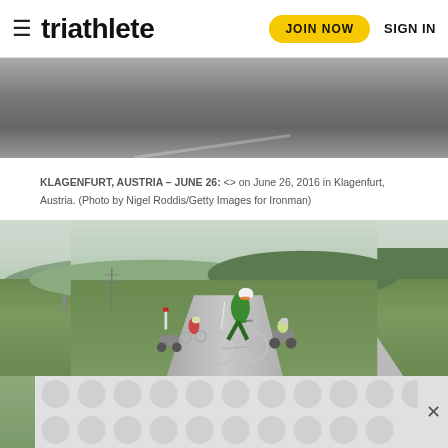triathlete — JOIN NOW   SIGN IN
[Figure (photo): Top portion of a cycling photo on a road, dark asphalt visible]
KLAGENFURT, AUSTRIA – JUNE 26: <> on June 26, 2016 in Klagenfurt, Austria. (Photo by Nigel Roddis/Getty Images for Ironman)
[Figure (photo): Triathlete cyclist in green kit and white helmet racing on a country road near Klagenfurt, Austria, with motorcycles and other cyclists behind, hills and fields in background]
[Figure (other): Advertisement overlay with circular pattern at the bottom of the page with an X close button]